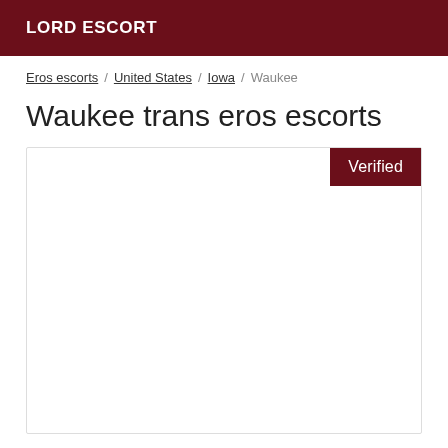LORD ESCORT
Eros escorts / United States / Iowa / Waukee
Waukee trans eros escorts
[Figure (other): Listing card with Verified badge in dark red, card content area is white/empty]
Verified